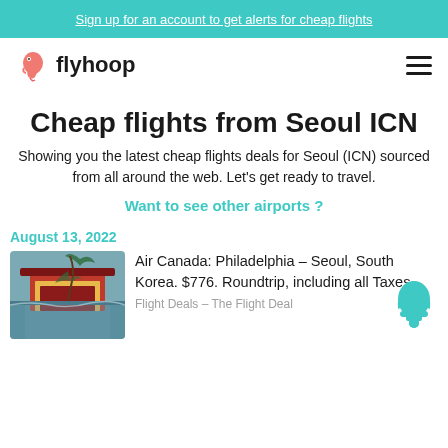Sign up for an account to get alerts for cheap flights
[Figure (logo): Flyhoop logo with flamingo icon and bold text 'flyhoop']
Cheap flights from Seoul ICN
Showing you the latest cheap flights deals for Seoul (ICN) sourced from all around the web. Let’s get ready to travel.
Want to see other airports ?
August 13, 2022
[Figure (photo): Photo of a traditional Korean pavilion (Gyeongbokgung area) reflected in a pond with willow tree branches in foreground]
Air Canada: Philadelphia – Seoul, South Korea. $776. Roundtrip, including all Taxes
Flight Deals – The Flight Deal